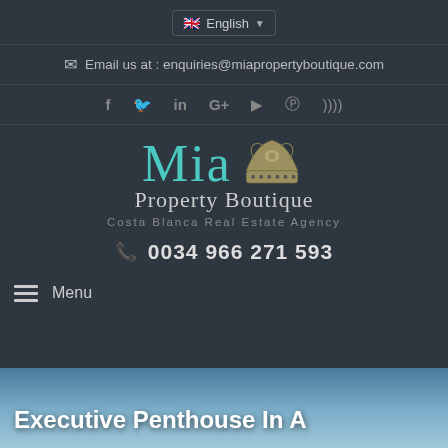English (language selector)
Email us at : enquiries@miapropertyboutique.com
[Figure (logo): Social media icons: Facebook, Twitter, LinkedIn, Google+, YouTube, Pinterest, RSS]
[Figure (logo): Mia Property Boutique logo with crown icon. Tagline: Costa Blanca Real Estate Agency. Phone: 0034 966 271 593]
Menu
Executive Penthouse In A